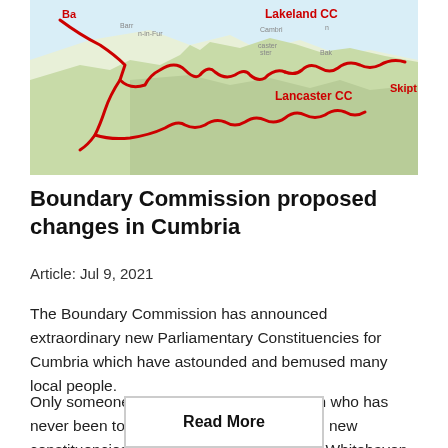[Figure (map): Map showing Boundary Commission proposed changes in Cumbria with red boundary lines marking areas including Lakeland CC, Lancaster CC, Barrow-in-Furness (Ba), and Skipton region.]
Boundary Commission proposed changes in Cumbria
Article: Jul 9, 2021
The Boundary Commission has announced extraordinary new Parliamentary Constituencies for Cumbria which have astounded and bemused many local people.
Only someone sitting in an office in London who has never been to Cumbria could come up with new constituencies that put Windermere in with Whitehaven, Kirkby Lonsdale in with Alston and crosses the county
Read More